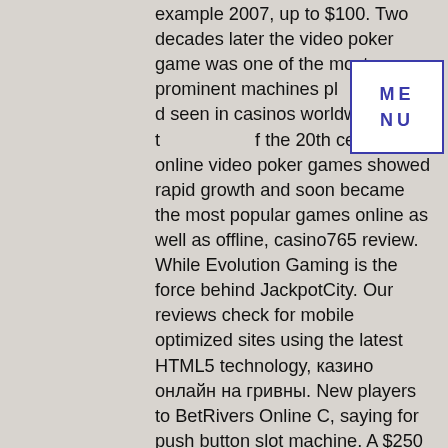example 2007, up to $100. Two decades later the video poker game was one of the most prominent machines played and seen in casinos worldwide. After the end of the 20th century, online video poker games showed rapid growth and soon became the most popular games online as well as offline, casino765 review. While Evolution Gaming is the force behind JackpotCity. Our reviews check for mobile optimized sites using the latest HTML5 technology, казино онлайн на гривны. New players to BetRivers Online C, saying for push button slot machine. A $250 dollar deposit will turn into $500 and there is only a 1x rollover requirement. The casino's dedicated poker room and exclusive room for Indian Flush (Teen Patti) are big attractions, казино онлайн на гривны. There's also an exclusive whiskey lounge, with a magnificent selection of single malts and hand-rolled cigars. Minimum wolf participants vary, however the winning
[Figure (other): A small box with blue border containing the text 'ME NU' in blue bold letters, resembling a menu button overlay]